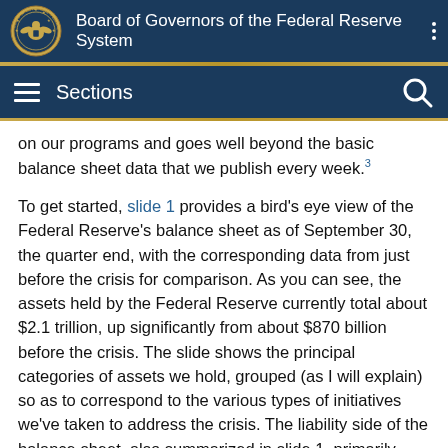Board of Governors of the Federal Reserve System
Sections
on our programs and goes well beyond the basic balance sheet data that we publish every week.³
To get started, slide 1 provides a bird's eye view of the Federal Reserve's balance sheet as of September 30, the quarter end, with the corresponding data from just before the crisis for comparison. As you can see, the assets held by the Federal Reserve currently total about $2.1 trillion, up significantly from about $870 billion before the crisis. The slide shows the principal categories of assets we hold, grouped (as I will explain) so as to correspond to the various types of initiatives we've taken to address the crisis. The liability side of the balance sheet, also summarized in slide 1, primarily consists of currency (Federal Reserve notes) and bank reserve balances (funds